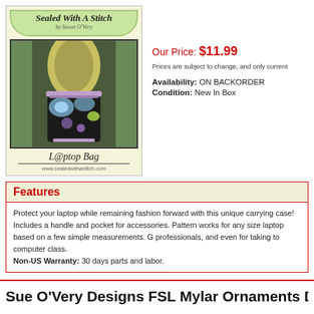[Figure (photo): Product listing page showing a laptop bag sewing pattern by Sealed With A Stitch by Susan O'Very. Image shows woman carrying a floral tote bag.]
Our Price: $11.99
Prices are subject to change, and only current
Availability: ON BACKORDER
Condition: New In Box
Features
Protect your laptop while remaining fashion forward with this unique carrying case! Includes a handle and pocket for accessories. Pattern works for any size laptop based on a few simple measurements. G professionals, and even for taking to computer class. Non-US Warranty: 30 days parts and labor.
Sue O'Very Designs FSL Mylar Ornaments Design